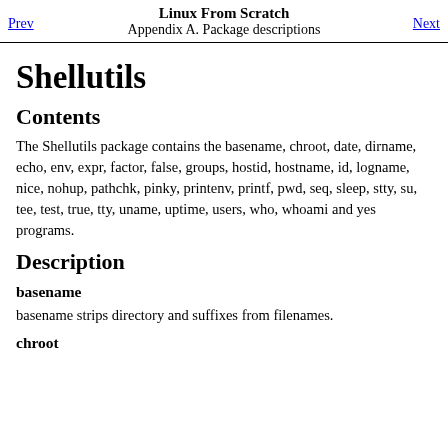Linux From Scratch
Appendix A. Package descriptions
Prev | Next
Shellutils
Contents
The Shellutils package contains the basename, chroot, date, dirname, echo, env, expr, factor, false, groups, hostid, hostname, id, logname, nice, nohup, pathchk, pinky, printenv, printf, pwd, seq, sleep, stty, su, tee, test, true, tty, uname, uptime, users, who, whoami and yes programs.
Description
basename
basename strips directory and suffixes from filenames.
chroot